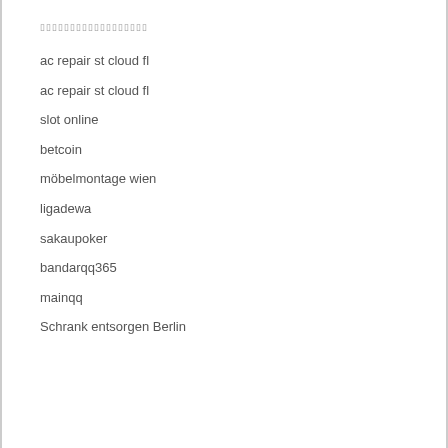▯▯▯▯▯▯▯▯▯▯▯▯▯▯▯▯▯▯
ac repair st cloud fl
ac repair st cloud fl
slot online
betcoin
möbelmontage wien
ligadewa
sakaupoker
bandarqq365
mainqq
Schrank entsorgen Berlin